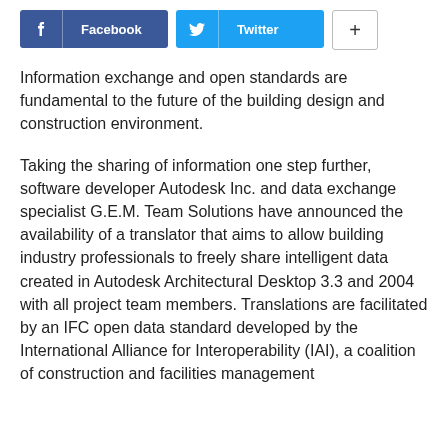[Figure (screenshot): Social sharing buttons row: Facebook (blue), Twitter (cyan), and a plus button (white with border)]
Information exchange and open standards are fundamental to the future of the building design and construction environment.
Taking the sharing of information one step further, software developer Autodesk Inc. and data exchange specialist G.E.M. Team Solutions have announced the availability of a translator that aims to allow building industry professionals to freely share intelligent data created in Autodesk Architectural Desktop 3.3 and 2004 with all project team members. Translations are facilitated by an IFC open data standard developed by the International Alliance for Interoperability (IAI), a coalition of construction and facilities management